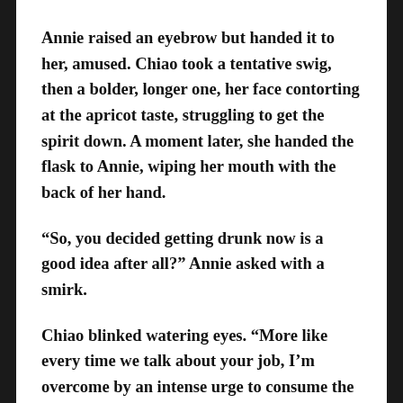Annie raised an eyebrow but handed it to her, amused. Chiao took a tentative swig, then a bolder, longer one, her face contorting at the apricot taste, struggling to get the spirit down. A moment later, she handed the flask to Annie, wiping her mouth with the back of her hand.
“So, you decided getting drunk now is a good idea after all?” Annie asked with a smirk.
Chiao blinked watering eyes. “More like every time we talk about your job, I’m overcome by an intense urge to consume the nearest alcoholic beverage. I don’t know how you do it. And, no offense, Annie, but I don’t know how you do it. You, of all people. If someone told me, or any of the Alpha Delta Pi sisters back in college, that you’d end up working for an organization